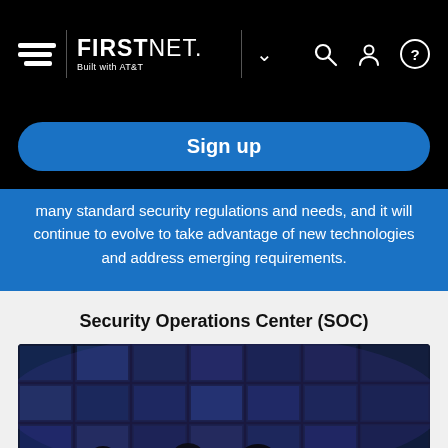FirstNet. Built with AT&T — navigation bar with Sign up button
many standard security regulations and needs, and it will continue to evolve to take advantage of new technologies and address emerging requirements.
Security Operations Center (SOC)
[Figure (photo): Security Operations Center room with large display screens showing various data and personnel working at consoles]